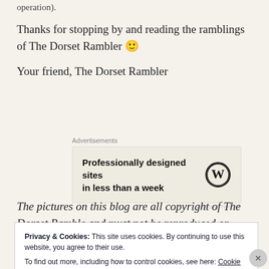operation).
Thanks for stopping by and reading the ramblings of The Dorset Rambler 🙂
Your friend, The Dorset Rambler
[Figure (other): Advertisement box: 'Professionally designed sites in less than a week' with WordPress logo]
The pictures on this blog are all copyright of The Dorset Ramble and must not be reproduced or
Privacy & Cookies: This site uses cookies. By continuing to use this website, you agree to their use. To find out more, including how to control cookies, see here: Cookie Policy
Close and accept